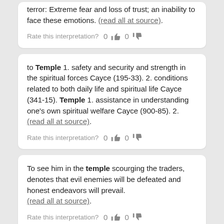terror: Extreme fear and loss of trust; an inability to face these emotions. (read all at source).
Rate this interpretation? 0 [thumbs up] 0 [thumbs down]
to Temple 1. safety and security and strength in the spiritual forces Cayce (195-33). 2. conditions related to both daily life and spiritual life Cayce (341-15). Temple 1. assistance in understanding one's own spiritual welfare Cayce (900-85). 2. (read all at source).
Rate this interpretation? 0 [thumbs up] 0 [thumbs down]
To see him in the temple scourging the traders, denotes that evil enemies will be defeated and honest endeavors will prevail. (read all at source).
Rate this interpretation? 0 [thumbs up] 0 [thumbs down]